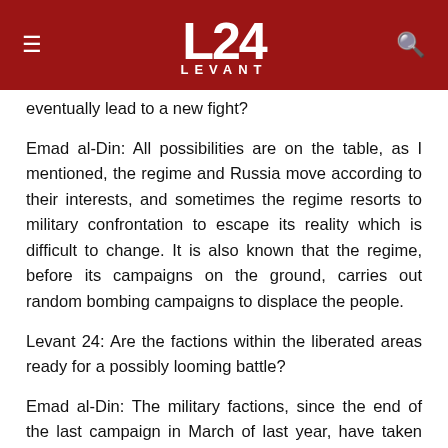[Figure (logo): Levant 24 news website header with red background, hamburger menu icon on left, L24 LEVANT logo in center, search icon on right]
eventually lead to a new fight?
Emad al-Din: All possibilities are on the table, as I mentioned, the regime and Russia move according to their interests, and sometimes the regime resorts to military confrontation to escape its reality which is difficult to change. It is also known that the regime, before its campaigns on the ground, carries out random bombing campaigns to displace the people.
Levant 24: Are the factions within the liberated areas ready for a possibly looming battle?
Emad al-Din: The military factions, since the end of the last campaign in March of last year, have taken several steps to